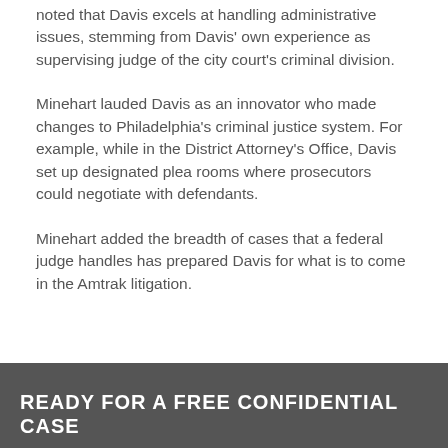noted that Davis excels at handling administrative issues, stemming from Davis' own experience as supervising judge of the city court's criminal division.
Minehart lauded Davis as an innovator who made changes to Philadelphia's criminal justice system. For example, while in the District Attorney's Office, Davis set up designated plea rooms where prosecutors could negotiate with defendants.
Minehart added the breadth of cases that a federal judge handles has prepared Davis for what is to come in the Amtrak litigation.
READY FOR A FREE CONFIDENTIAL CASE